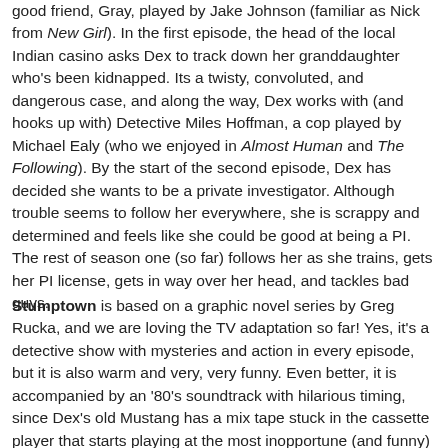good friend, Gray, played by Jake Johnson (familiar as Nick from New Girl). In the first episode, the head of the local Indian casino asks Dex to track down her granddaughter who's been kidnapped. Its a twisty, convoluted, and dangerous case, and along the way, Dex works with (and hooks up with) Detective Miles Hoffman, a cop played by Michael Ealy (who we enjoyed in Almost Human and The Following). By the start of the second episode, Dex has decided she wants to be a private investigator. Although trouble seems to follow her everywhere, she is scrappy and determined and feels like she could be good at being a PI. The rest of season one (so far) follows her as she trains, gets her PI license, gets in way over her head, and tackles bad guys.
Stumptown is based on a graphic novel series by Greg Rucka, and we are loving the TV adaptation so far! Yes, it's a detective show with mysteries and action in every episode, but it is also warm and very, very funny. Even better, it is accompanied by an '80's soundtrack with hilarious timing, since Dex's old Mustang has a mix tape stuck in the cassette player that starts playing at the most inopportune (and funny)